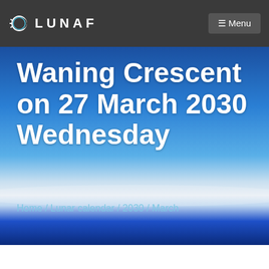LUNAF  Menu
Waning Crescent on 27 March 2030 Wednesday
Home / Lunar calendar / 2030 / March